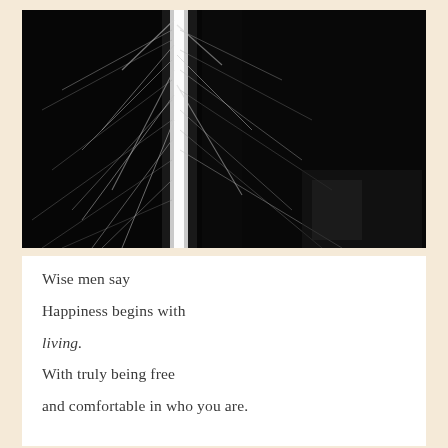[Figure (photo): Black and white photograph showing flowing hair or fibrous material with a bright vertical light streak against a dark background]
Wise men say

Happiness begins with

living.

With truly being free

and comfortable in who you are.